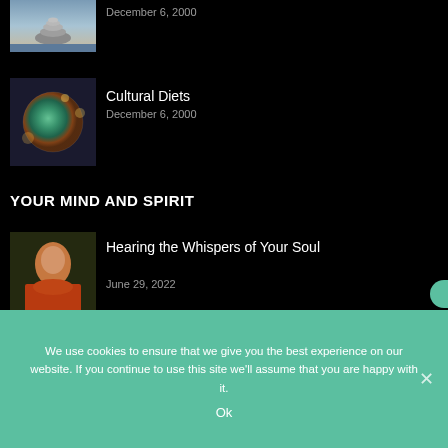December 6, 2000
[Figure (photo): Stacked stones on a beach near water]
Cultural Diets
December 6, 2000
[Figure (photo): Crystal ball showing globe/earth with bokeh lights]
YOUR MIND AND SPIRIT
Hearing the Whispers of Your Soul
June 29, 2022
[Figure (photo): Woman in red floral dress holding a cup, contemplative pose]
We use cookies to ensure that we give you the best experience on our website. If you continue to use this site we'll assume that you are happy with it.
Ok